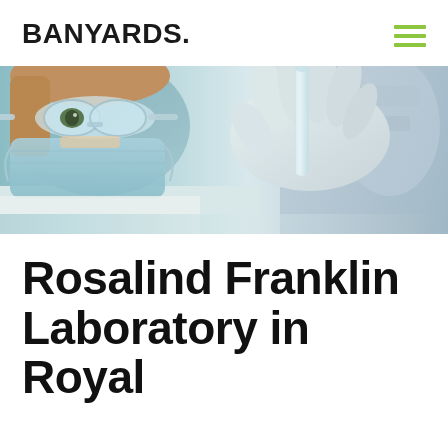BANYARDS.
[Figure (photo): A scientist wearing protective goggles, a surgical mask, and white latex gloves, holding a laboratory test tube up to inspect it. The background is blurred with laboratory equipment visible.]
Rosalind Franklin Laboratory in Royal